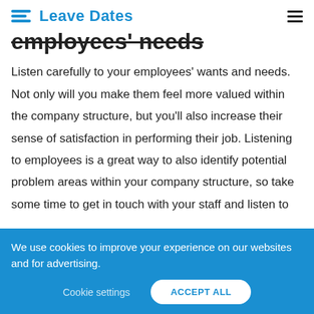Leave Dates
employees' needs
Listen carefully to your employees' wants and needs. Not only will you make them feel more valued within the company structure, but you'll also increase their sense of satisfaction in performing their job. Listening to employees is a great way to also identify potential problem areas within your company structure, so take some time to get in touch with your staff and listen to
We use cookies to improve your experience on our websites and for advertising.
Cookie settings    ACCEPT ALL